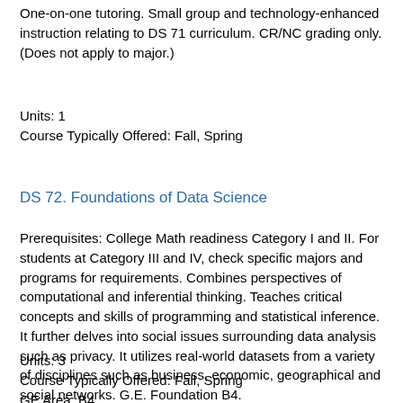One-on-one tutoring. Small group and technology-enhanced instruction relating to DS 71 curriculum. CR/NC grading only. (Does not apply to major.)
Units: 1
Course Typically Offered: Fall, Spring
DS 72. Foundations of Data Science
Prerequisites: College Math readiness Category I and II. For students at Category III and IV, check specific majors and programs for requirements. Combines perspectives of computational and inferential thinking. Teaches critical concepts and skills of programming and statistical inference. It further delves into social issues surrounding data analysis such as privacy. It utilizes real-world datasets from a variety of disciplines such as business, economic, geographical and social networks. G.E. Foundation B4.
Units: 3
Course Typically Offered: Fall, Spring
GE Area: B4